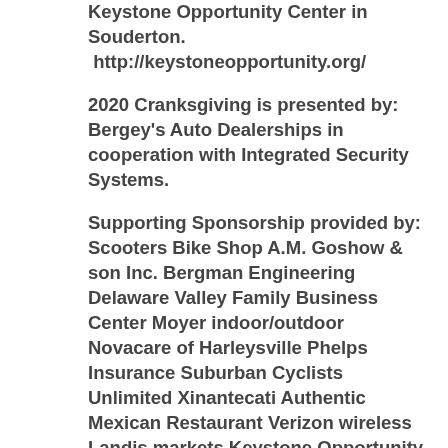Keystone Opportunity Center in Souderton.
 http://keystoneopportunity.org/
2020 Cranksgiving is presented by: Bergey's Auto Dealerships in cooperation with Integrated Security Systems.
Supporting Sponsorship provided by: Scooters Bike Shop A.M. Goshow & son Inc. Bergman Engineering Delaware Valley Family Business Center Moyer indoor/outdoor Novacare of Harleysville Phelps Insurance Suburban Cyclists Unlimited Xinantecati Authentic Mexican Restaurant Verizon wireless Landis markets Keystone Opportunity